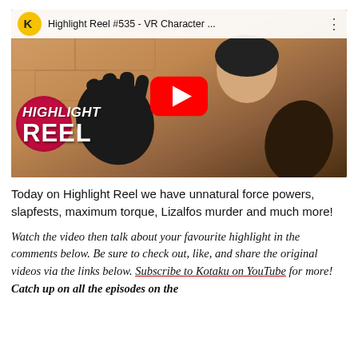[Figure (screenshot): YouTube video thumbnail for 'Highlight Reel #535 - VR Character ...' showing a VR game character with black gloves raising hands, with a YouTube play button in the center. Bottom left has a 'HIGHLIGHT REEL' logo on a dark red circular badge. Top bar shows Kotaku K logo and video title.]
Today on Highlight Reel we have unnatural force powers, slapfests, maximum torque, Lizalfos murder and much more!
Watch the video then talk about your favourite highlight in the comments below. Be sure to check out, like, and share the original videos via the links below. Subscribe to Kotaku on YouTube for more! Catch up on all the episodes on the